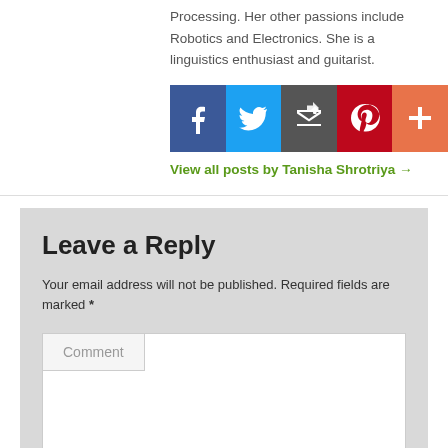Processing. Her other passions include Robotics and Electronics. She is a linguistics enthusiast and guitarist.
[Figure (infographic): Social media sharing icons: Facebook (blue), Twitter (light blue), Email/share (dark grey), Pinterest (red), More/plus (orange-red)]
View all posts by Tanisha Shrotriya →
Leave a Reply
Your email address will not be published. Required fields are marked *
Comment